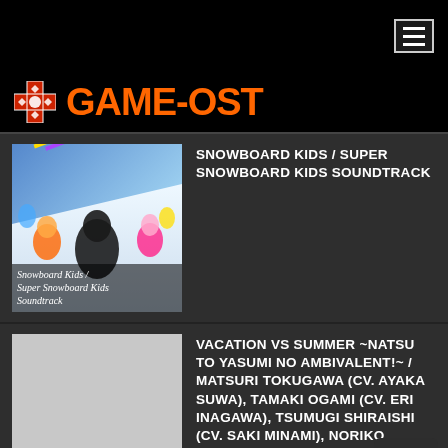[Figure (logo): GAME-OST website header with hamburger menu button]
[Figure (illustration): Snowboard Kids / Super Snowboard Kids Soundtrack album art showing cartoon characters snowboarding]
SNOWBOARD KIDS / SUPER SNOWBOARD KIDS SOUNDTRACK
[Figure (photo): Gray placeholder thumbnail for Vacation VS Summer listing]
VACATION VS SUMMER ~NATSU TO YASUMI NO AMBIVALENT!~ / MATSURI TOKUGAWA (CV. AYAKA SUWA), TAMAKI OGAMI (CV. ERI INAGAWA), TSUMUGI SHIRAISHI (CV. SAKI MINAMI), NORIKO FUKUDA (CV. NANA HAMASAKI), AZUSA MIURA (CV. CHIAKI TAKAHASHI)
[Figure (logo): Headphone icon in dark rounded square]
[Figure (photo): Gray placeholder thumbnail for Cult of the Lamb listing]
CULT OF THE LAMB